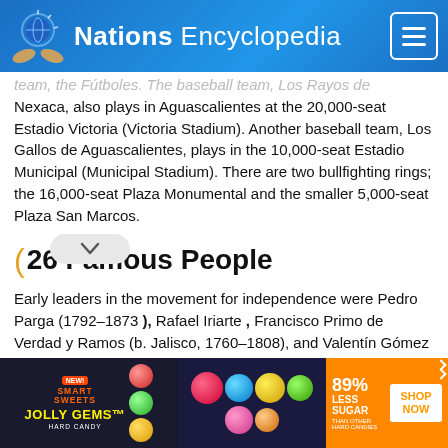Nations Encyclopedia
team, the Fútboles. The baseball team, Los Rayos de Nexaca, also plays in Aguascalientes at the 20,000-seat Estadio Victoria (Victoria Stadium). Another baseball team, Los Gallos de Aguascalientes, plays in the 10,000-seat Estadio Municipal (Municipal Stadium). There are two bullfighting rings; the 16,000-seat Plaza Monumental and the smaller 5,000-seat Plaza San Marcos.
26 Famous People
Early leaders in the movement for independence were Pedro Parga (1792–1873 ), Rafael Iriarte , Francisco Primo de Verdad y Ramos (b. Jalisco, 1760–1808), and Valentín Gómez Farías (b. Jalisco, 1781–1858). Sculptor Jesús Contreras (1866–1902) created 18 statues of famous figures that line the Paseo de la Reforma (Avenida
[Figure (other): Advertisement banner for Smart Sweets Jolly Gems Hard Candy - 89% Less Sugar than other hard candies, with Shop Now button]